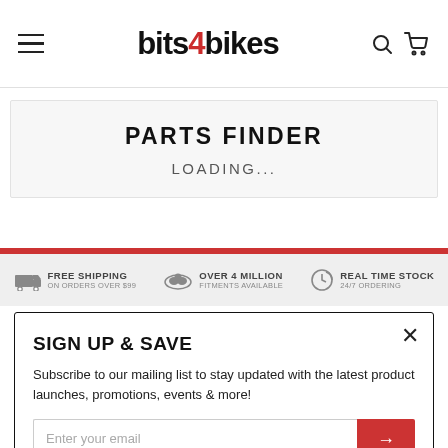bits4bikes — hamburger menu, search, cart
PARTS FINDER
LOADING...
FREE SHIPPING ON ORDERS OVER $99 | OVER 4 MILLION FITMENTS AVAILABLE | REAL TIME STOCK 24/7 ORDERING
SIGN UP & SAVE
Subscribe to our mailing list to stay updated with the latest product launches, promotions, events & more!
Enter your email